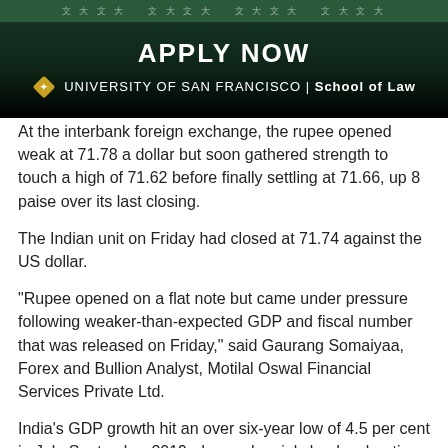[Figure (screenshot): University of San Francisco School of Law banner with 'APPLY NOW' text on dark green/black background with decorative logo]
At the interbank foreign exchange, the rupee opened weak at 71.78 a dollar but soon gathered strength to touch a high of 71.62 before finally settling at 71.66, up 8 paise over its last closing.
The Indian unit on Friday had closed at 71.74 against the US dollar.
"Rupee opened on a flat note but came under pressure following weaker-than-expected GDP and fiscal number that was released on Friday," said Gaurang Somaiyaa, Forex and Bullion Analyst, Motilal Oswal Financial Services Private Ltd.
India's GDP growth hit an over six-year low of 4.5 per cent in July-September 2019, dragged mainly by deceleration in manufacturing output and subdued farm sector activity, according to official data released on Friday.